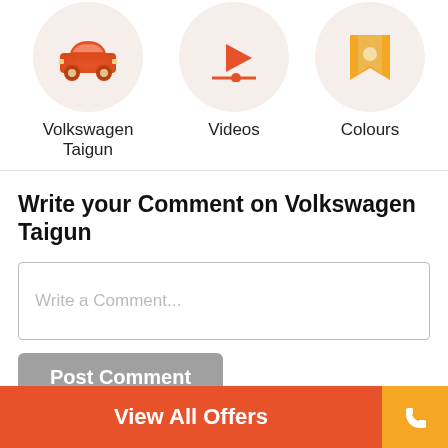[Figure (illustration): Three circular icons: car (Volkswagen Taigun), video play button, and colour/bookmark icon — all in orange tones on light grey circles]
Volkswagen Taigun
Videos
Colours
Write your Comment on Volkswagen Taigun
Write a Comment...
Post Comment
Taigun > Volkswagen Taigun Reviews > Good Car Interns Of Safety
View All Offers